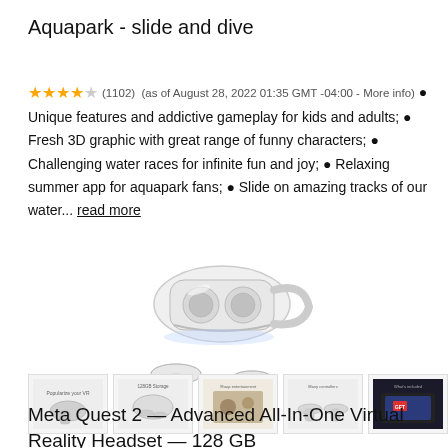Aquapark - slide and dive
★★★★☆ (1102) (as of August 28, 2022 01:35 GMT -04:00 - More info) • Unique features and addictive gameplay for kids and adults; • Fresh 3D graphic with great range of funny characters; • Challenging water races for infinite fun and joy; • Relaxing summer app for aquapark fans; • Slide on amazing tracks of our water... read more
[Figure (photo): Meta Quest 2 VR headset with two controllers, white color, shown from front-right angle]
[Figure (photo): Thumbnail strip showing 5 product images of Meta Quest 2 VR headset]
Meta Quest 2 — Advanced All-In-One Virtual Reality Headset — 128 GB